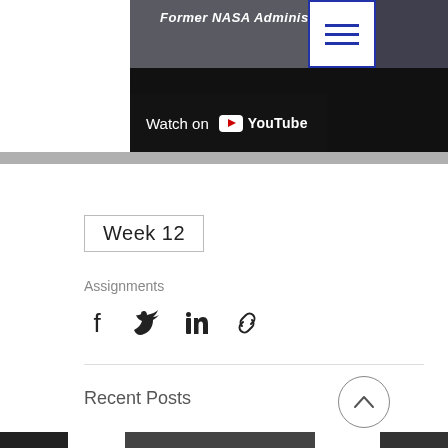[Figure (screenshot): Hamburger/menu icon button with three blue horizontal lines inside a blue-bordered square, top-right corner of page]
[Figure (screenshot): Partial video screenshot showing 'Former NASA Administrator' text overlay and a 'Watch on YouTube' bar at bottom, dark background with partial header image]
Week 12
Assignments
[Figure (infographic): Social share icons row: Facebook, Twitter, LinkedIn, and link/chain icon]
Recent Posts